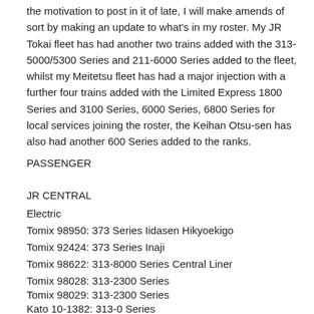the motivation to post in it of late, I will make amends of sort by making an update to what's in my roster. My JR Tokai fleet has had another two trains added with the 313-5000/5300 Series and 211-6000 Series added to the fleet, whilst my Meitetsu fleet has had a major injection with a further four trains added with the Limited Express 1800 Series and 3100 Series, 6000 Series, 6800 Series for local services joining the roster, the Keihan Otsu-sen has also had another 600 Series added to the ranks.
PASSENGER
JR CENTRAL
Electric
Tomix 98950: 373 Series Iidasen Hikyoekigo
Tomix 92424: 373 Series Inaji
Tomix 98622: 313-8000 Series Central Liner
Tomix 98028: 313-2300 Series
Tomix 98029: 313-2300 Series
Kato 10-1382: 313-0 Series
Kato 10-1287: 313-1700 Series
Kato 10-1387: 313-3000 Series
Kato 10-1379: 313-5000 Series